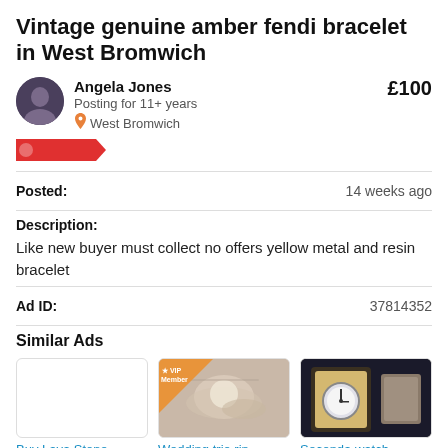Vintage genuine amber fendi bracelet in West Bromwich
Angela Jones
Posting for 11+ years
West Bromwich
£100
Posted: 14 weeks ago
Description:
Like new buyer must collect no offers yellow metal and resin bracelet
Ad ID: 37814352
Similar Ads
[Figure (photo): Empty thumbnail for Buy Lava Stone ad]
Buy Lava Stone...
[Figure (photo): Photo of wedding rings with VIP Member badge overlay, Wedding trio ring ad]
Wedding trio rin...
[Figure (photo): Photo of a watch in a box, Seconda watch ad]
Seconda watch ...